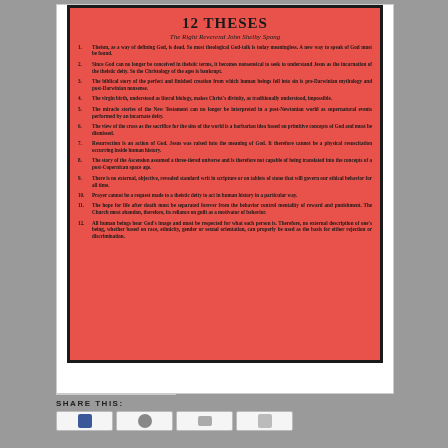12 THESES
The Right Reverend John Shelby Spong
1. Theism, as a way of defining God, is dead. So most theological God-talk is today meaningless. A new way to speak of God must be found.
2. Since God can no longer be conceived in theistic terms, it becomes nonsensical to seek to understand Jesus as the incarnation of the theistic deity. So the Christology of the ages is bankrupt.
3. The biblical story of the perfect and finished creation from which human beings fell into sin is pre-Darwinian mythology and post-Darwinian nonsense.
4. The virgin birth, understood as literal biology, makes Christ's divinity, as traditionally understood, impossible.
5. The miracle stories of the New Testament can no longer be interpreted in a post-Newtonian world as supernatural events performed by an incarnate deity.
6. The view of the cross as the sacrifice for the sins of the world is a barbarian idea based on primitive concepts of God and must be dismissed.
7. Resurrection is an action of God. Jesus was raised into the meaning of God. It therefore cannot be a physical resuscitation occurring inside human history.
8. The story of the Ascension assumed a three-tiered universe and is therefore not capable of being translated into the concepts of a post-Copernican space age.
9. There is no external, objective, revealed standard writ in scripture or on tablets of stone that will govern our ethical behavior for all time.
10. Prayer cannot be a request made to a theistic deity to act in human history in a particular way.
11. The hope for life after death must be separated forever from the behavior control mentality of reward and punishment. The Church must abandon, therefore, its reliance on guilt as a motivator of behavior.
12. All human beings bear God's image and must be respected for what each person is. Therefore, no external description of one's being, whether based on race, ethnicity, gender or sexual orientation, can properly be used as the basis for either rejection or discrimination.
SHARE THIS: